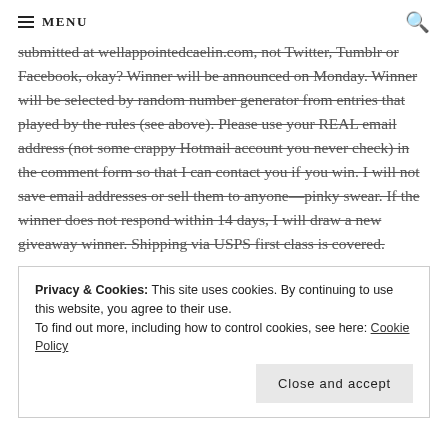MENU
submitted at wellappointedcaelin.com, not Twitter, Tumblr or Facebook, okay? Winner will be announced on Monday. Winner will be selected by random number generator from entries that played by the rules (see above). Please use your REAL email address (not some crappy Hotmail account you never check) in the comment form so that I can contact you if you win. I will not save email addresses or sell them to anyone—pinky swear. If the winner does not respond within 14 days, I will draw a new giveaway winner. Shipping via USPS first class is covered.
Privacy & Cookies: This site uses cookies. By continuing to use this website, you agree to their use.
To find out more, including how to control cookies, see here: Cookie Policy
Close and accept